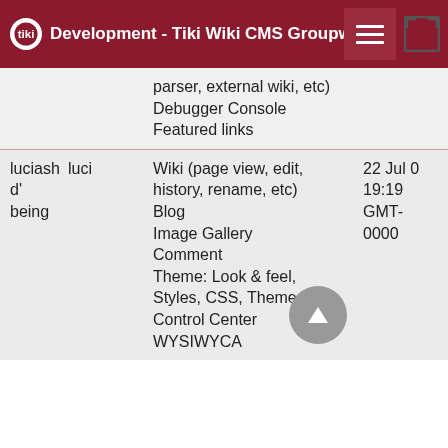Development - Tiki Wiki CMS Groupware
|  |  | Features | Date |
| --- | --- | --- | --- |
|  |  | parser, external wiki, etc)
Debugger Console
Featured links |  |
| luciash d' being | luci | Wiki (page view, edit, history, rename, etc)
Blog
Image Gallery
Comment
Theme: Look & feel, Styles, CSS, Theme Control Center
WYSIWYCA | 22 Jul 0
19:19
GMT-0000 |